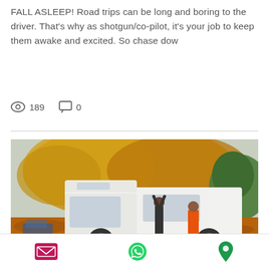FALL ASLEEP! Road trips can be long and boring to the driver. That's why as shotgun/co-pilot, it's your job to keep them awake and excited. So chase dow
189  0
[Figure (photo): Two people standing beside a white camper van/motorhome in an autumn setting with orange and yellow fallen leaves on the ground and autumn-colored trees in the background.]
[Figure (infographic): Bottom navigation bar with three icons: email/envelope icon (pink/red), WhatsApp icon (green), and location/map pin icon (green).]